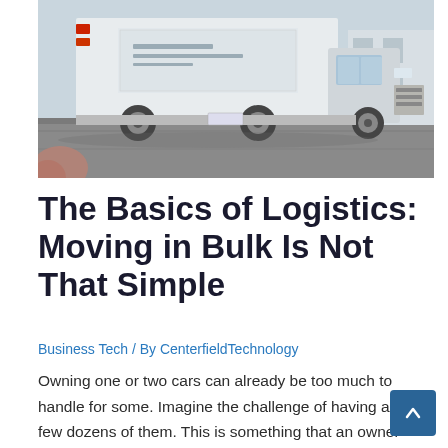[Figure (photo): Photo of a white commercial delivery/utility truck parked on a road, viewed from the front-left angle. The truck has writing on the side and appears to be a large box truck or utility vehicle.]
The Basics of Logistics: Moving in Bulk Is Not That Simple
Business Tech / By CenterfieldTechnology
Owning one or two cars can already be too much to handle for some. Imagine the challenge of having a few dozens of them. This is something that an owner of a car rental or taxi franchise knows. The logistics of maintaining and monitoring the cars and their drivers could be staggering, which is why …